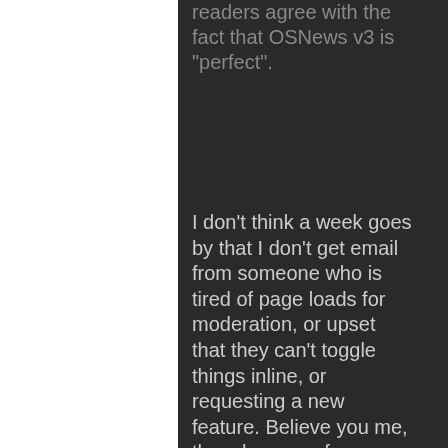readers agree with the fact that OSNews v3 is "perfect".
I don't think a week goes by that I don't get email from someone who is tired of page loads for moderation, or upset that they can't toggle things inline, or requesting a new feature. Believe you me, though some of you may exist, I think there are LOTS of people who think v3 is far from "perfect." People said the exact same things…